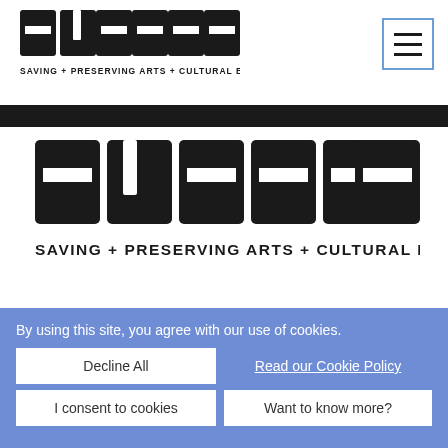SPACES - SAVING + PRESERVING ARTS + CULTURAL ENVIRONMENTS (header logo and nav)
[Figure (logo): SPACES logo large - SAVING + PRESERVING ARTS + CULTURAL ENVIRONMENTS]
[Figure (infographic): Social media icon buttons: Facebook (blue), Twitter (light blue), Instagram (purple-red gradient), YouTube (red)]
By using this site, you agree with our use of cookies.
Decline All
Read our Cookie Policy
I consent to cookies
Want to know more?